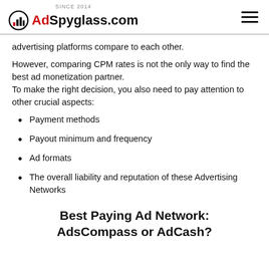SINCE 2014 AdSpyglass.com
advertising platforms compare to each other.
However, comparing CPM rates is not the only way to find the best ad monetization partner.
To make the right decision, you also need to pay attention to other crucial aspects:
Payment methods
Payout minimum and frequency
Ad formats
The overall liability and reputation of these Advertising Networks
Best Paying Ad Network: AdsCompass or AdCash?